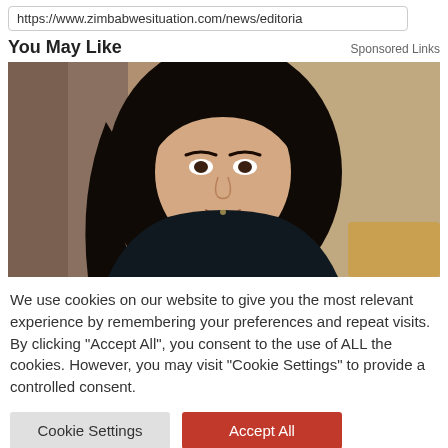https://www.zimbabwesituation.com/news/editoria
You May Like
Sponsored Links
[Figure (photo): Portrait photo of a woman with long dark hair, wearing a dark jacket, smiling, with a blurred background]
We use cookies on our website to give you the most relevant experience by remembering your preferences and repeat visits. By clicking “Accept All”, you consent to the use of ALL the cookies. However, you may visit “Cookie Settings” to provide a controlled consent.